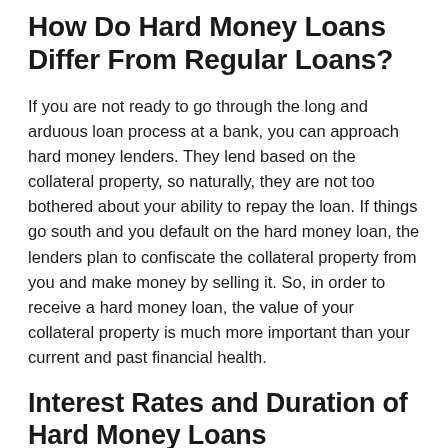How Do Hard Money Loans Differ From Regular Loans?
If you are not ready to go through the long and arduous loan process at a bank, you can approach hard money lenders. They lend based on the collateral property, so naturally, they are not too bothered about your ability to repay the loan. If things go south and you default on the hard money loan, the lenders plan to confiscate the collateral property from you and make money by selling it. So, in order to receive a hard money loan, the value of your collateral property is much more important than your current and past financial health.
Interest Rates and Duration of Hard Money Loans